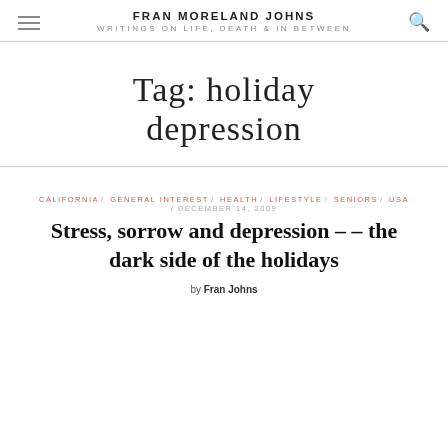FRAN MORELAND JOHNS / WRITINGS ON LIFE, DEATH & IN BETWEEN
Tag: holiday depression
CALIFORNIA / GENERAL INTEREST / HEALTH / LIFESTYLE / SENIORS / USA / DECEMBER 14, 2009
Stress, sorrow and depression – – the dark side of the holidays
by Fran Johns